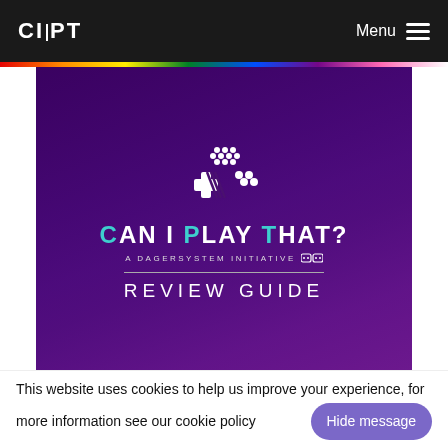CIPT  Menu
[Figure (screenshot): Hero banner image for 'Can I Play That? A DAGERSYSTEM Initiative Review Guide' with a game controller logo on a dark purple background with crowd in background]
Review Guide
This website uses cookies to help us improve your experience, for more information see our cookie policy  Hide message